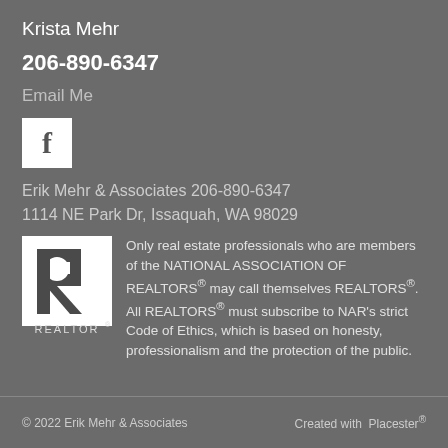Krista Mehr
206-890-6347
Email Me
[Figure (logo): Facebook 'f' logo icon in white square]
Erik Mehr & Associates 206-890-6347
1114 NE Park Dr, Issaquah, WA 98029
[Figure (logo): REALTOR logo with stylized R and text REALTOR below]
Only real estate professionals who are members of the NATIONAL ASSOCIATION OF REALTORS® may call themselves REALTORS®. All REALTORS® must subscribe to NAR's strict Code of Ethics, which is based on honesty, professionalism and the protection of the public.
© 2022 Erik Mehr & Associates    Created with  Placester®